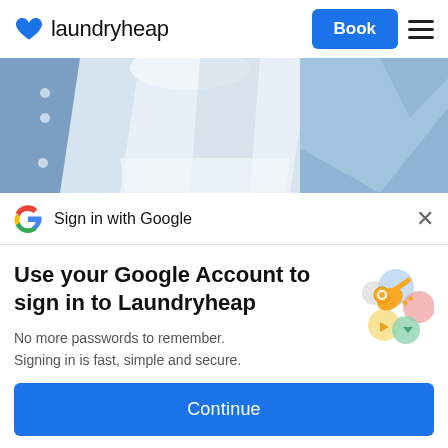[Figure (logo): Laundryheap logo with blue heart icon and 'laundryheap' text, plus a blue 'Book' button and hamburger menu on the right]
[Figure (photo): Close-up photo of neatly folded and arranged light blue and white dress shirts]
Sign in with Google
Use your Google Account to sign in to Laundryheap
No more passwords to remember. Signing in is fast, simple and secure.
[Figure (illustration): Google key illustration with colorful circular icons and a golden key]
Continue